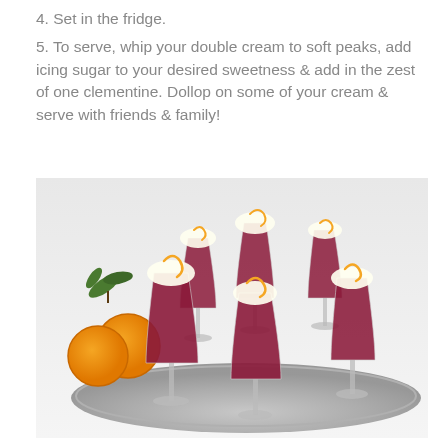4. Set in the fridge.
5. To serve, whip your double cream to soft peaks, add icing sugar to your desired sweetness & add in the zest of one clementine. Dollop on some of your cream & serve with friends & family!
[Figure (photo): Six small glass cups filled with dark red/purple jelly dessert topped with whipped cream and orange zest curls, arranged on a silver tray. Three clementines with leaves are visible on the left side.]